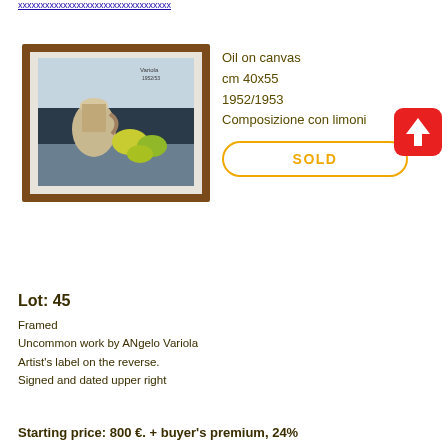[Figure (photo): Framed oil painting showing a still life composition with a pitcher/jug and lemons (Composizione con limoni) by ANgelo Variola, 1952/1953. Signed upper right. Brown wooden frame with white mat.]
Oil on canvas
cm 40x55
1952/1953
Composizione con limoni
SOLD
[Figure (illustration): Red rounded square button with white upward arrow icon (upload/scroll to top button)]
Lot: 45
Framed
Uncommon work by ANgelo Variola
Artist's label on the reverse.
Signed and dated upper right
Starting price: 800 €. + buyer's premium, 24%